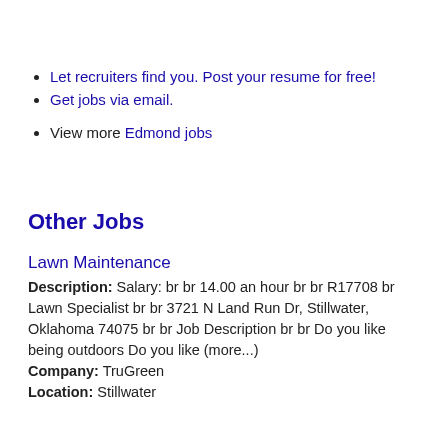Let recruiters find you. Post your resume for free!
Get jobs via email.
View more Edmond jobs
Other Jobs
Lawn Maintenance
Description: Salary: br br 14.00 an hour br br R17708 br Lawn Specialist br br 3721 N Land Run Dr, Stillwater, Oklahoma 74075 br br Job Description br br Do you like being outdoors Do you like (more...) Company: TruGreen Location: Stillwater